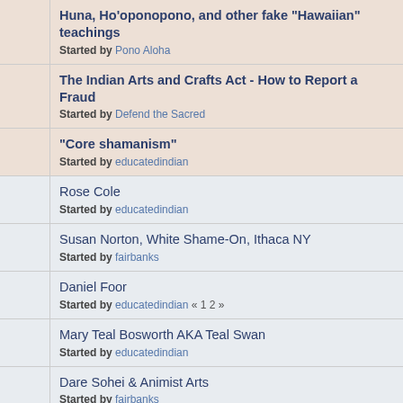Huna, Ho'oponopono, and other fake "Hawaiian" teachings — Started by Pono Aloha
The Indian Arts and Crafts Act - How to Report a Fraud — Started by Defend the Sacred
"Core shamanism" — Started by educatedindian
Rose Cole — Started by educatedindian
Susan Norton, White Shame-On, Ithaca NY — Started by fairbanks
Daniel Foor — Started by educatedindian « 1 2 »
Mary Teal Bosworth AKA Teal Swan — Started by educatedindian
Dare Sohei & Animist Arts — Started by fairbanks
Naomi Archer - "Ana Oian Amets, Ana Oihan Ametsa" - Awakening Horse People — Started by earthw7 « 1 2 3 »
Dr. Carrie Bourassa — claims of Métis, Tlingit and Anishinaabe heritage — Started by Sparks « 1 2 »